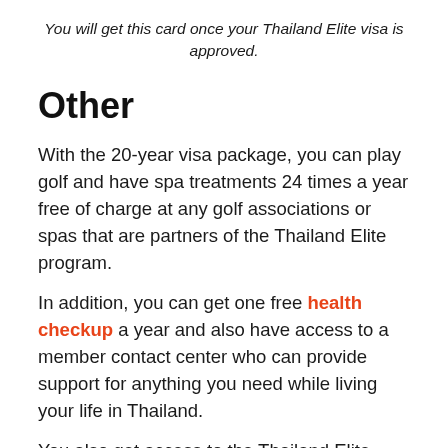You will get this card once your Thailand Elite visa is approved.
Other
With the 20-year visa package, you can play golf and have spa treatments 24 times a year free of charge at any golf associations or spas that are partners of the Thailand Elite program.
In addition, you can get one free health checkup a year and also have access to a member contact center who can provide support for anything you need while living your life in Thailand.
You also get access to the Thailand Elite Visa support center.